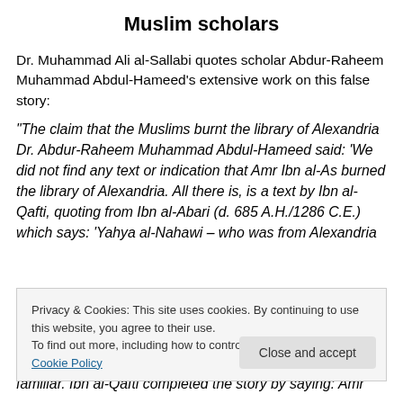Muslim scholars
Dr. Muhammad Ali al-Sallabi quotes scholar Abdur-Raheem Muhammad Abdul-Hameed’s extensive work on this false story:
“The claim that the Muslims burnt the library of Alexandria Dr. Abdur-Raheem Muhammad Abdul-Hameed said: ‘We did not find any text or indication that Amr Ibn al-As burned the library of Alexandria. All there is, is a text by Ibn al-Qafti, quoting from Ibn al-Abari (d. 685 A.H./1286 C.E.) which says: ‘Yahya al-Nahawi – who was from Alexandria
Privacy & Cookies: This site uses cookies. By continuing to use this website, you agree to their use.
To find out more, including how to control cookies, see here: Cookie Policy
familiar. Ibn al-Qafti completed the story by saying: Amr